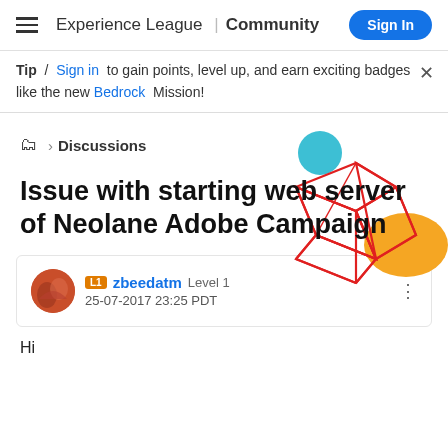Experience League | Community  Sign In
Tip / Sign in to gain points, level up, and earn exciting badges like the new Bedrock Mission!
[Figure (illustration): Decorative geometric red wireframe cube with a teal circle and orange circle behind it]
> Discussions
Issue with starting web server of Neolane Adobe Campaign
zbeedatm Level 1
25-07-2017 23:25 PDT
Hi